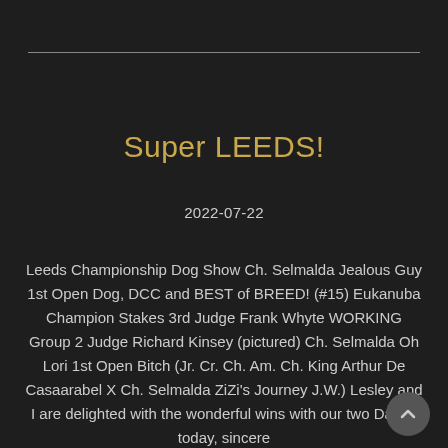Super LEEDS!
2022-07-22
Leeds Championship Dog Show Ch. Selmalda Jealous Guy 1st Open Dog, DCC and BEST of BREED! (#15) Eukanuba Champion Stakes 3rd Judge Frank Whyte WORKING Group 2 Judge Richard Kinsey (pictured) Ch. Selmalda Oh Lori 1st Open Bitch (Jr. Cr. Ch. Am. Ch. King Arthur De Casaarabel X Ch. Selmalda ZiZi's Journey J.W.) Lesley and I are delighted with the wonderful wins with our two Danes today, sincere